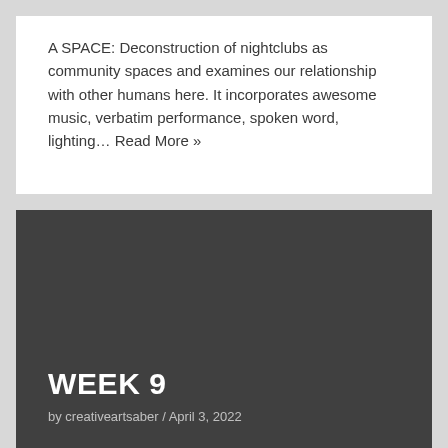A SPACE: Deconstruction of nightclubs as community spaces and examines our relationship with other humans here. It incorporates awesome music, verbatim performance, spoken word, lighting… Read More »
[Figure (other): Dark gray rectangular image area serving as background for the Week 9 card]
WEEK 9
by creativeartsaber / April 3, 2022